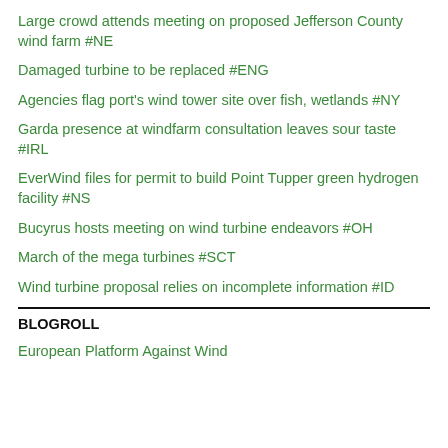Large crowd attends meeting on proposed Jefferson County wind farm #NE
Damaged turbine to be replaced #ENG
Agencies flag port's wind tower site over fish, wetlands #NY
Garda presence at windfarm consultation leaves sour taste #IRL
EverWind files for permit to build Point Tupper green hydrogen facility #NS
Bucyrus hosts meeting on wind turbine endeavors #OH
March of the mega turbines #SCT
Wind turbine proposal relies on incomplete information #ID
BLOGROLL
European Platform Against Wind